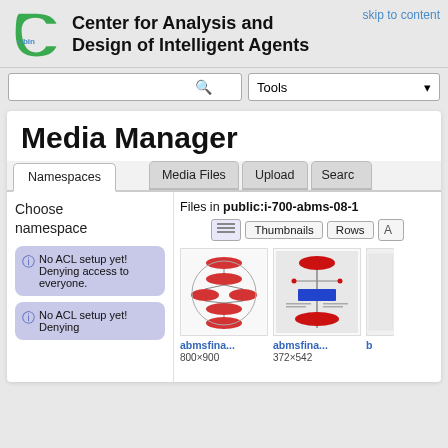Center for Analysis and Design of Intelligent Agents
skip to content
Media Manager
Namespaces | Media Files | Upload | Search
Choose namespace
Files in public:i-700-abms-08-1
Thumbnails | Rows
No ACL setup yet! Denying access to everyone.
No ACL setup yet! Denying
[Figure (screenshot): Thumbnail of abmsfina... diagram showing red ellipses in a network graph pattern]
abmsfina...
800×900
[Figure (screenshot): Thumbnail of abmsfina... diagram showing a blue rectangle and red ellipses on gray background]
abmsfina...
372×542